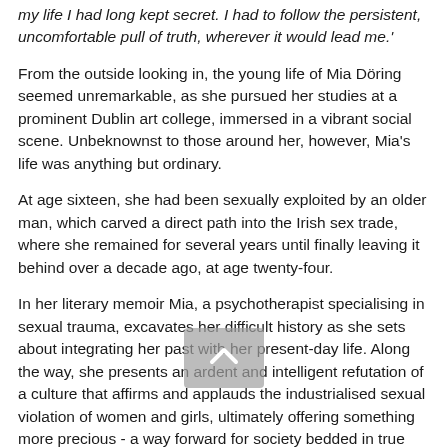my life I had long kept secret. I had to follow the persistent, uncomfortable pull of truth, wherever it would lead me.'
From the outside looking in, the young life of Mia Döring seemed unremarkable, as she pursued her studies at a prominent Dublin art college, immersed in a vibrant social scene. Unbeknownst to those around her, however, Mia's life was anything but ordinary.
At age sixteen, she had been sexually exploited by an older man, which carved a direct path into the Irish sex trade, where she remained for several years until finally leaving it behind over a decade ago, at age twenty-four.
In her literary memoir Mia, a psychotherapist specialising in sexual trauma, excavates her difficult history as she sets about integrating her past with her present-day life. Along the way, she presents an ardent and intelligent refutation of a culture that affirms and applauds the industrialised sexual violation of women and girls, ultimately offering something more precious - a way forward for society bedded in true understanding and compassion.
Any Girl is a ferociously honest, intensely tender and utterly